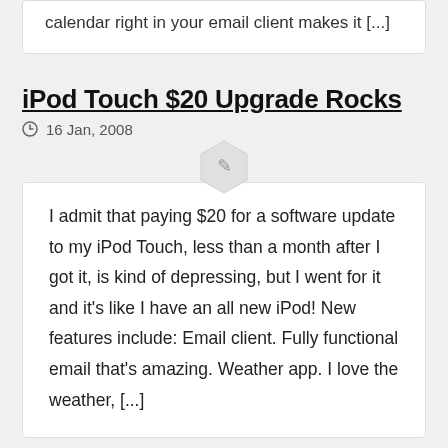calendar right in your email client makes it [...]
iPod Touch $20 Upgrade Rocks
16 Jan, 2008
I admit that paying $20 for a software update to my iPod Touch, less than a month after I got it, is kind of depressing, but I went for it and it's like I have an all new iPod! New features include: Email client. Fully functional email that's amazing. Weather app. I love the weather, [...]